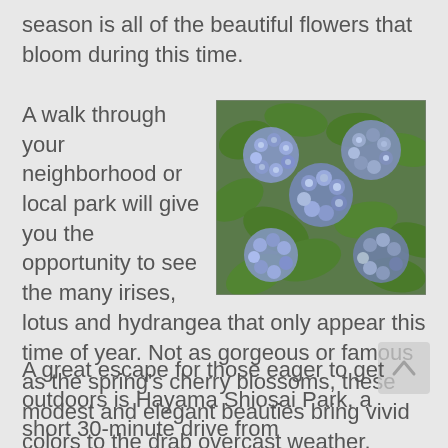season is all of the beautiful flowers that bloom during this time.
A walk through your neighborhood or local park will give you the opportunity to see the many irises, lotus and hydrangea that only appear this time of year. Not as gorgeous or famous as the spring's cherry blossoms, these modest and elegant beauties bring vivid colors to the drab overcast weather.
[Figure (photo): A photograph of blooming blue-purple hydrangea flowers with large green leaves, densely packed.]
A great escape for those eager to get outdoors is Hayama Shiosai Park, a short 30-minute drive from